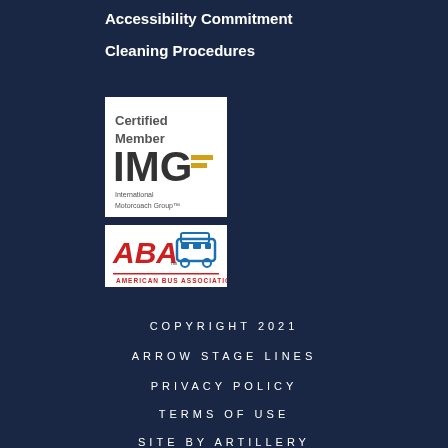Accessibility Commitment
Cleaning Procedures
[Figure (logo): Certified Member IMG International Motorcoach Group logo on white background]
[Figure (logo): ABA American Bus Association logo on white background]
COPYRIGHT 2021
ARROW STAGE LINES
PRIVACY POLICY
TERMS OF USE
SITE BY ARTILLERY